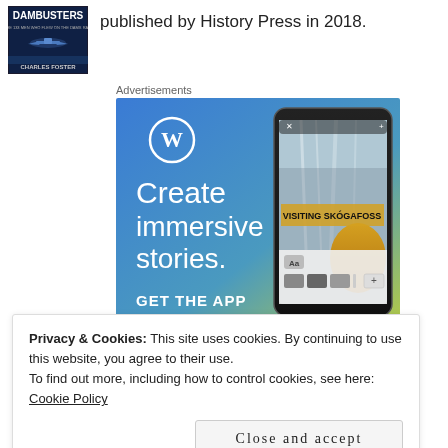[Figure (illustration): Book cover for 'Dambusters: The 133 Men Who Flew on the Dams Raid' by Charles Foster]
published by History Press in 2018.
Advertisements
[Figure (illustration): WordPress advertisement: Create immersive stories. GET THE APP — shows WordPress logo and a smartphone displaying a waterfall scene 'VISITING SKÓGAFOSS']
Privacy & Cookies: This site uses cookies. By continuing to use this website, you agree to their use.
To find out more, including how to control cookies, see here: Cookie Policy